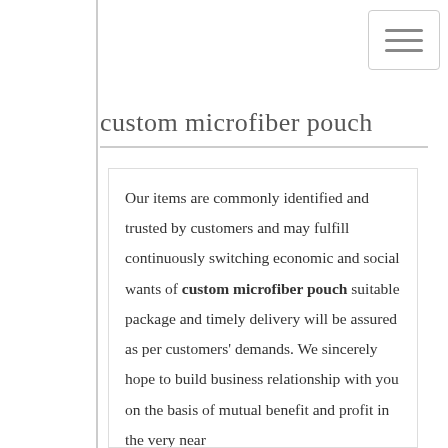custom microfiber pouch
Our items are commonly identified and trusted by customers and may fulfill continuously switching economic and social wants of custom microfiber pouch suitable package and timely delivery will be assured as per customers' demands. We sincerely hope to build business relationship with you on the basis of mutual benefit and profit in the very near